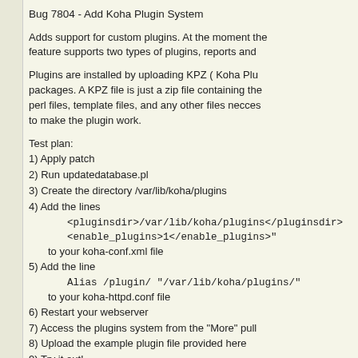Bug 7804 - Add Koha Plugin System
Adds support for custom plugins. At the moment the feature supports two types of plugins, reports and
Plugins are installed by uploading KPZ ( Koha Plugin packages. A KPZ file is just a zip file containing the perl files, template files, and any other files necces to make the plugin work.
Test plan:
1) Apply patch
2) Run updatedatabase.pl
3) Create the directory /var/lib/koha/plugins
4) Add the lines
<pluginsdir>/var/lib/koha/plugins</pluginsdir>
<enable_plugins>1</enable_plugins>"
to your koha-conf.xml file
5) Add the line
Alias /plugin/ "/var/lib/koha/plugins/"
to your koha-httpd.conf file
6) Restart your webserver
7) Access the plugins system from the "More" pull
8) Upload the example plugin file provided here
9) Try it out!
Signed-off-by: Bernardo Gonzalez Kriegel <bgkriegel@gmail.com>
Signed-off-by: Jonathan Druart <jonathan.druart@biblibre.com>